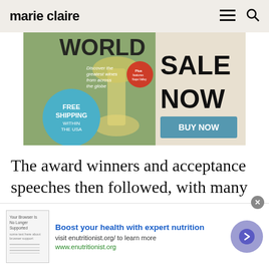marie claire
[Figure (photo): Advertisement banner showing a wine magazine cover with text 'WORLD', 'FREE SHIPPING WITHIN THE USA', 'SALE NOW', and a 'BUY NOW' button]
The award winners and acceptance speeches then followed, with many using their speeches to champion equality.
The bi... (partially visible text cut off)
[Figure (infographic): Bottom advertisement banner: 'Boost your health with expert nutrition', 'visit enutritionist.org/ to learn more', 'www.enutritionist.org']